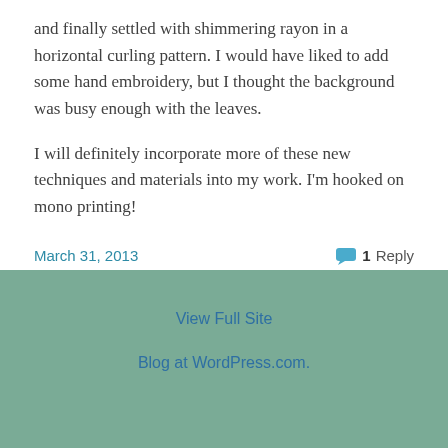and finally settled with shimmering rayon in a horizontal curling pattern. I would have liked to add some hand embroidery, but I thought the background was busy enough with the leaves.
I will definitely incorporate more of these new techniques and materials into my work. I'm hooked on mono printing!
March 31, 2013   1 Reply
View Full Site
Blog at WordPress.com.